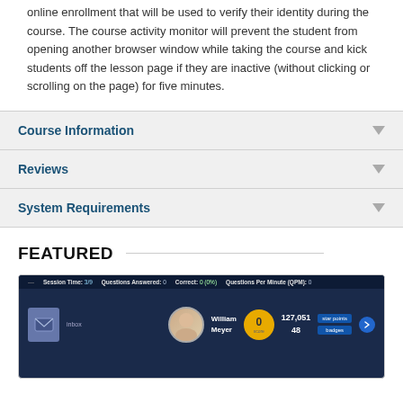online enrollment that will be used to verify their identity during the course. The course activity monitor will prevent the student from opening another browser window while taking the course and kick students off the lesson page if they are inactive (without clicking or scrolling on the page) for five minutes.
Course Information
Reviews
System Requirements
FEATURED
[Figure (screenshot): Screenshot of an online learning platform showing a user dashboard with session info bar (Session Time: 3/9, Questions Answered: 0, Correct: 0 (0%), Questions Per Minute (QPM): 0), a user profile for William Meyer with score 0, stats showing 127,051 and 48, and star points badges.]